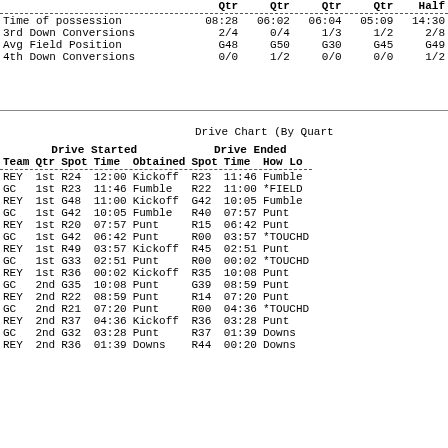|  | Qtr | Qtr | Qtr | Qtr | Half |
| --- | --- | --- | --- | --- | --- |
| Time of possession | 08:28 | 06:02 | 06:04 | 05:09 | 14:30 |
| 3rd Down Conversions | 2/4 | 0/4 | 1/3 | 1/2 | 2/8 |
| Avg Field Position | G48 | G50 | G30 | G45 | G49 |
| 4th Down Conversions | 0/0 | 1/2 | 0/0 | 0/0 | 1/2 |
Drive Chart (By Quarter)
| Team | Qtr | Spot | Time | Obtained | Spot | Time | How Lo |
| --- | --- | --- | --- | --- | --- | --- | --- |
| REY | 1st | R24 | 12:00 | Kickoff | R23 | 11:46 | Fumble |
| GC | 1st | R23 | 11:46 | Fumble | R22 | 11:00 | *FIELD |
| REY | 1st | G48 | 11:00 | Kickoff | G42 | 10:05 | Fumble |
| GC | 1st | G42 | 10:05 | Fumble | R40 | 07:57 | Punt |
| REY | 1st | R20 | 07:57 | Punt | R15 | 06:42 | Punt |
| GC | 1st | G42 | 06:42 | Punt | R00 | 03:57 | *TOUCHD |
| REY | 1st | R49 | 03:57 | Kickoff | R45 | 02:51 | Punt |
| GC | 1st | G33 | 02:51 | Punt | R00 | 00:02 | *TOUCHD |
| REY | 1st | R36 | 00:02 | Kickoff | R35 | 10:08 | Punt |
| GC | 2nd | G35 | 10:08 | Punt | G39 | 08:59 | Punt |
| REY | 2nd | R22 | 08:59 | Punt | R14 | 07:20 | Punt |
| GC | 2nd | R21 | 07:20 | Punt | R00 | 04:36 | *TOUCHD |
| REY | 2nd | R37 | 04:36 | Kickoff | R36 | 03:28 | Punt |
| GC | 2nd | G32 | 03:28 | Punt | R37 | 01:39 | Downs |
| REY | 2nd | R36 | 01:39 | Downs | R44 | 00:20 | Downs |